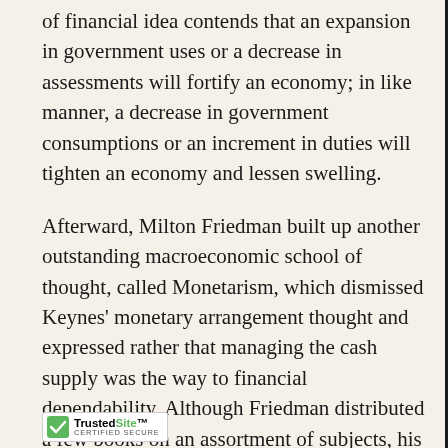of financial idea contends that an expansion in government uses or a decrease in assessments will fortify an economy; in like manner, a decrease in government consumptions or an increment in duties will tighten an economy and lessen swelling.
Afterward, Milton Friedman built up another outstanding macroeconomic school of thought, called Monetarism, which dismissed Keynes' monetary arrangement thought and expressed rather that managing the cash supply was the way to financial dependability. Although Friedman distributed a few books on an assortment of subjects, his best-known work is Studies in the Quantity Theory of Money, published in 1956.